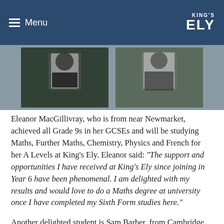Menu | KING'S ELY
[Figure (photo): Two photos side by side of students holding their results papers outdoors]
Eleanor MacGillivray, who is from near Newmarket, achieved all Grade 9s in her GCSEs and will be studying Maths, Further Maths, Chemistry, Physics and French for her A Levels at King's Ely. Eleanor said: “The support and opportunities I have received at King’s Ely since joining in Year 6 have been phenomenal. I am delighted with my results and would love to do a Maths degree at university once I have completed my Sixth Form studies here.”
Another delighted student is Sam Barber, from Cambridge, who joined King’s Ely in Year 9 and is this year’s Sixth Form Choral Scholar. Sam achieved all Grades 9-7 in his GCSEs. He said: “I was thrilled when I opened my results! I am really excited